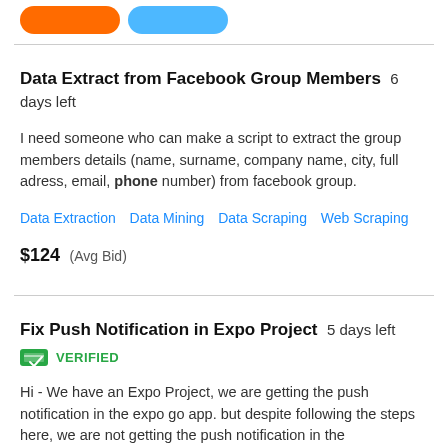[Figure (other): Two colored buttons: orange and blue pill-shaped buttons at the top of the page]
Data Extract from Facebook Group Members  6 days left
I need someone who can make a script to extract the group members details (name, surname, company name, city, full adress, email, phone number) from facebook group.
Data Extraction   Data Mining   Data Scraping   Web Scraping
$124  (Avg Bid)
Fix Push Notification in Expo Project  5 days left
[Figure (other): Green VERIFIED badge with credit card icon and checkmark]
Hi - We have an Expo Project, we are getting the push notification in the expo go app. but despite following the steps here, we are not getting the push notification in the